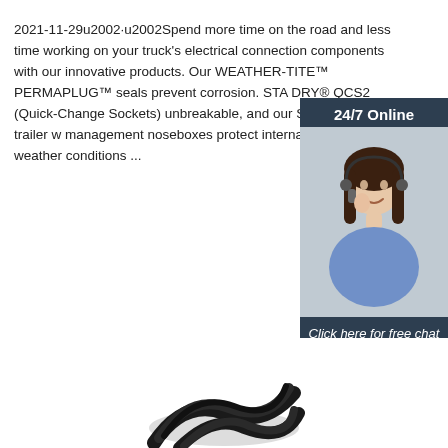2021-11-29u2002·u2002Spend more time on the road and less time working on your truck's electrical connection components with our innovative products. Our WEATHER-TITE™ PERMAPLUG™ seals prevent corrosion. STA DRY® QCS2 (Quick-Change Sockets) unbreakable, and our STA-DRY® trailer w management noseboxes protect internal w from harsh weather conditions ...
[Figure (photo): Customer service representative (woman with headset) with '24/7 Online' header and 'Click here for free chat!' and 'QUOTATION' button in dark blue/orange sidebar widget]
[Figure (photo): Bottom partial view of coiled black cable product]